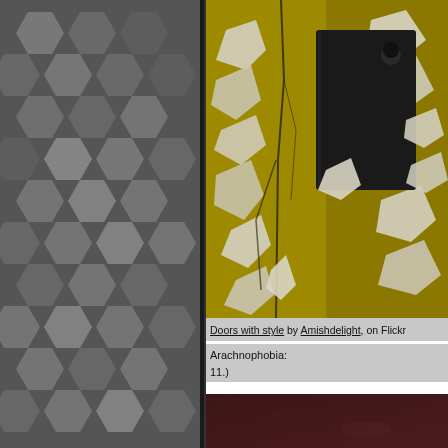[Figure (illustration): Dark grey panel with hexagonal grid pattern in lighter grey tones, arranged in a honeycomb pattern]
[Figure (photo): Close-up photograph of a door with peeling yellow/mustard paint and a black metal lock plate with keyhole]
Doors with style by Amishdelight, on Flickr
Arachnophobia:
11.)
[Figure (photo): Dark reddish-brown textured surface, partially visible at bottom of page]